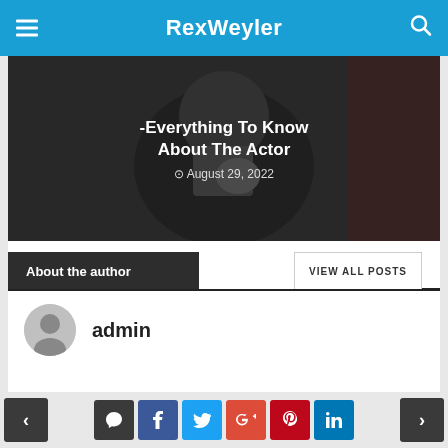RexWeyler
[Figure (photo): Dark background image of a person adjusting collar, with text overlay '-Everything To Know About The Actor' and date 'August 29, 2022']
-Everything To Know About The Actor
August 29, 2022
About the author
VIEW ALL POSTS
[Figure (illustration): Gray circular avatar icon]
admin
Add Comment
Navigation bar with social share buttons: comment, facebook, twitter, google+, pinterest, linkedin